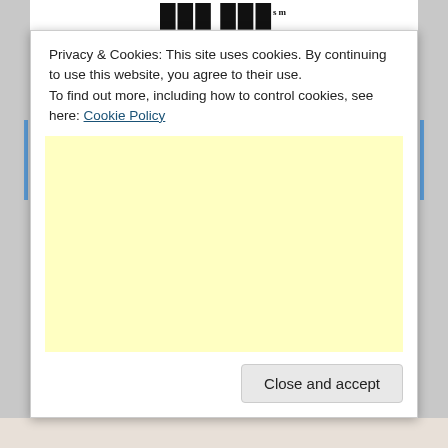Daily Grit (logo/header partially visible)
Privacy & Cookies: This site uses cookies. By continuing to use this website, you agree to their use.
To find out more, including how to control cookies, see here: Cookie Policy
[Figure (other): Large pale yellow advertisement or placeholder box]
Close and accept